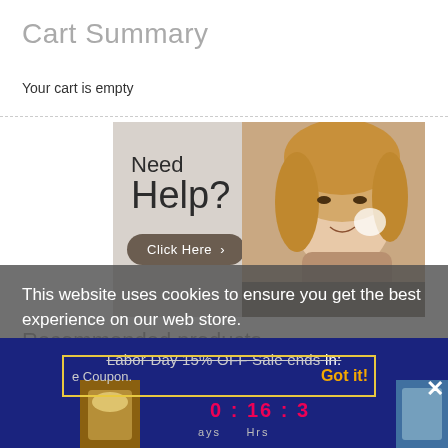Cart Summary
Your cart is empty
[Figure (illustration): Need Help? banner with woman touching face, Click Here button, and cookie consent overlay reading 'This website uses cookies to ensure you get the best experience on our web store. Learn More']
This website uses cookies to ensure you get the best experience on our web store.
Learn More
Recommended products
Labor Day 15% OFF Sale ends in: e Coupon. Got it!